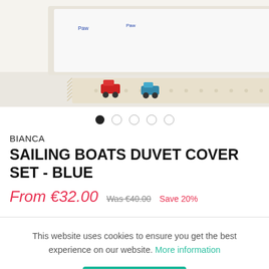[Figure (photo): Product photo of sailing boats duvet cover set in blue on a child's bed, with toys on a rug on the floor, partially cropped at top]
● ○ ○ ○ ○
BIANCA
SAILING BOATS DUVET COVER SET - BLUE
From €32.00  Was €40.00  Save 20%
This website uses cookies to ensure you get the best experience on our website. More information
Accept